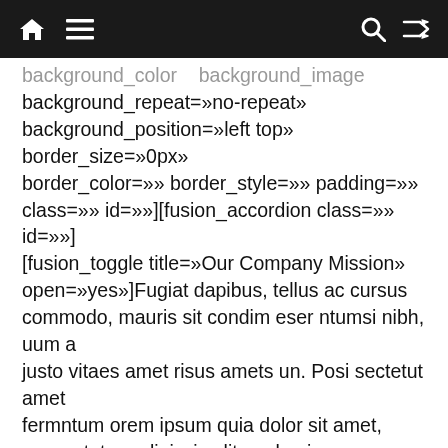Navigation bar with home, menu, search, and shuffle icons
background_color   background_image background_repeat=»no-repeat» background_position=»left top» border_size=»0px» border_color=»» border_style=»» padding=»» class=»» id=»»][fusion_accordion class=»» id=»] [fusion_toggle title=»Our Company Mission» open=»yes»]Fugiat dapibus, tellus ac cursus commodo, mauris sit condim eser ntumsi nibh, uum a justo vitaes amet risus amets un. Posi sectetut amet fermntum orem ipsum quia dolor sit amet, consectetur, adipisci velit, sed quia nons. [/fusion_toggle][fusion_toggle title=»The Avada Philosophy» open=»»]Fugiat dapibus, tellus ac cursus commodo, mauris sit condim eser ntumsi nibh, a justo vitaes amet risus amets un. Posi sectetut fermntum orem ipsum quia dolor sit amet,